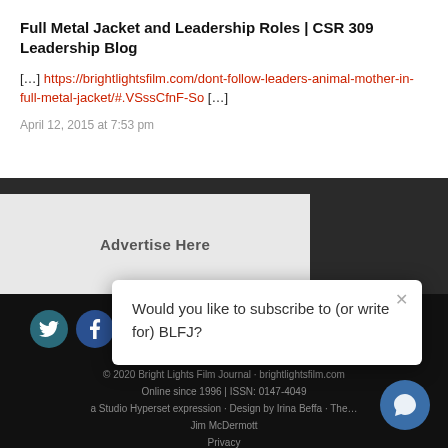Full Metal Jacket and Leadership Roles | CSR 309 Leadership Blog
[…] https://brightlightsfilm.com/dont-follow-leaders-animal-mother-in-full-metal-jacket/#.VSssCfnF-So […]
April 12, 2015 at 7:53 pm
[Figure (other): Advertise Here banner in light gray box]
[Figure (logo): BL logo in white on dark background]
[Figure (other): Social media icons: Twitter and Facebook circular buttons]
[Figure (screenshot): Popup dialog: Would you like to subscribe to (or write for) BLFJ? with close X button]
© 2020 Bright Lights Film Journal · brightlightsfilm.com Online since 1996 | ISSN: 0147-4049 a Studio Hyperset expression · Design by Irina Beffa · The… Jim McDermott Privacy